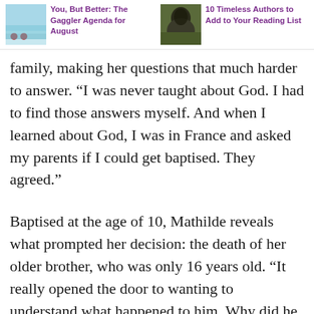You, But Better: The Gaggler Agenda for August
10 Timeless Authors to Add to Your Reading List
family, making her questions that much harder to answer. “I was never taught about God. I had to find those answers myself. And when I learned about God, I was in France and asked my parents if I could get baptised. They agreed.”
Baptised at the age of 10, Mathilde reveals what prompted her decision: the death of her older brother, who was only 16 years old. “It really opened the door to wanting to understand what happened to him. Why did he die at such a young age? Where is he now? Where is his soul?